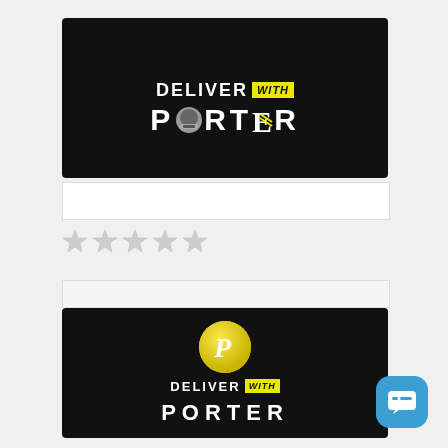[Figure (logo): Deliver With Porter logo on black background - top banner with helmet icon replacing O in PORTER]
[Figure (illustration): Empty white input field / search bar]
[Figure (illustration): Five star rating row (light gray stars)]
[Figure (illustration): Light gray empty strip/input bar]
[Figure (logo): Deliver With Porter logo on black background - bottom banner with yellow P circle and full text PORTER]
[Figure (illustration): Blue rounded square chat button with message icon]